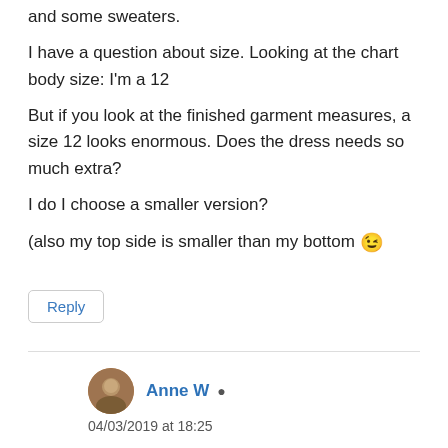and some sweaters.
I have a question about size. Looking at the chart body size: I'm a 12
But if you look at the finished garment measures, a size 12 looks enormous. Does the dress needs so much extra?
I do I choose a smaller version?
(also my top side is smaller than my bottom 😉
Reply
Anne W
04/03/2019 at 18:25
Hi Leentje, I made the 16, based on full bust measurement. I found there was enough ease in that